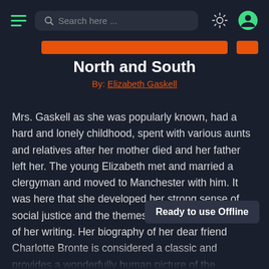Search here ...
North and South
By: Elizabeth Gaskell
Mrs. Gaskell as she was popularly known, had a hard and lonely childhood, spent with various aunts and relatives after her mother died and her father left her. The young Elizabeth met and married a clergyman and moved to Manchester with him. It was here that she developed her strong sense of social justice and the themes which form the basis of her writing. Her biography of her dear friend Charlotte Bronte is considered a classic and provides a wonderfully human picture of the Yorkshire genius and her equally talented, tragic family. North and South is set in a fictional town called Milton and located north of England. The characters Margeret Hale is a clergyman's daughter...
Ready to use Offline